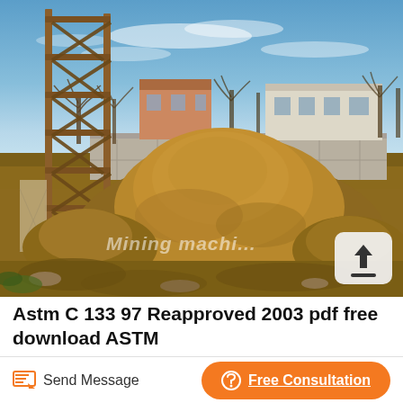[Figure (photo): Construction site photo showing a large pile of gravel/aggregate in the center, metal scaffolding on the left, a concrete wall in the background with buildings and bare trees visible, clear blue sky. A watermark reads 'Mining machi...' and an upload icon is in the bottom-right corner of the photo.]
Astm C 133 97 Reapproved 2003 pdf free download ASTM
Send Message
Free Consultation